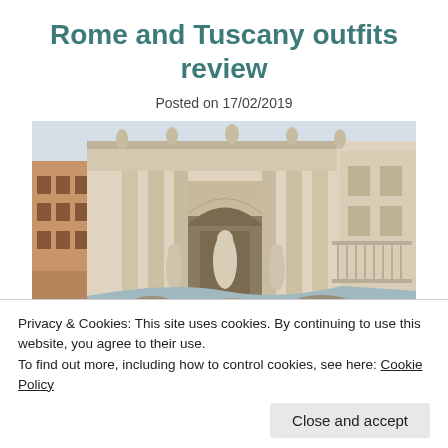Rome and Tuscany outfits review
Posted on 17/02/2019
[Figure (photo): Photograph of the Trevi Fountain in Rome, showing the baroque facade with statues, columns, and arches, with surrounding Renaissance buildings visible on the left.]
Privacy & Cookies: This site uses cookies. By continuing to use this website, you agree to their use.
To find out more, including how to control cookies, see here: Cookie Policy
Close and accept